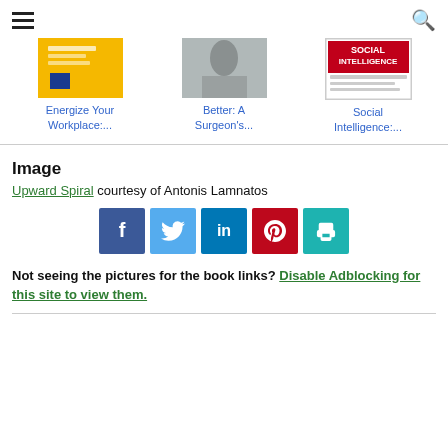Navigation header with hamburger menu and search icon
[Figure (other): Three book covers in a row: Energize Your Workplace (yellow cover), Better: A Surgeon's (gray/photo cover), Social Intelligence (red/white cover)]
Energize Your Workplace:...
Better: A Surgeon's...
Social Intelligence:...
Image
Upward Spiral courtesy of Antonis Lamnatos
[Figure (other): Social sharing buttons: Facebook (dark blue, f), Twitter (light blue, bird), LinkedIn (blue, in), Pinterest (red, p), Print (teal, printer icon)]
Not seeing the pictures for the book links? Disable Adblocking for this site to view them.